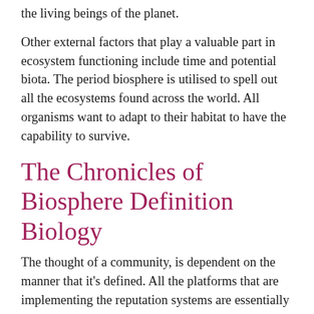Biosphere Biosphere is simply the assortment of all of the living beings of the planet.
Other external factors that play a valuable part in ecosystem functioning include time and potential biota. The period biosphere is utilised to spell out all the ecosystems found across the world. All organisms want to adapt to their habitat to have the capability to survive.
The Chronicles of Biosphere Definition Biology
The thought of a community, is dependent on the manner that it's defined. All the platforms that are implementing the reputation systems are essentially attempting to maintain the ecosystem to stay in a reasonable and mutually aided frame. Ecology is the area of science that explores living things and the way they interact with one another and Earth.